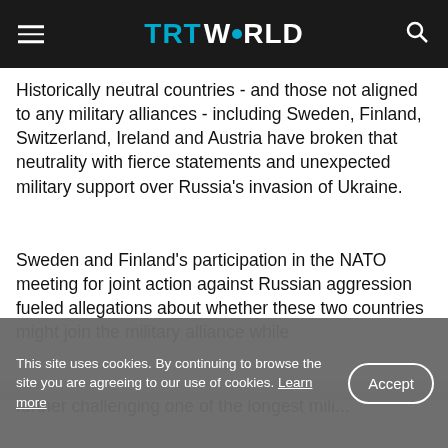TRT WORLD
Historically neutral countries - and those not aligned to any military alliances - including Sweden, Finland, Switzerland, Ireland and Austria have broken that neutrality with fierce statements and unexpected military support over Russia's invasion of Ukraine.
Sweden and Finland's participation in the NATO meeting for joint action against Russian aggression fueled allegations about whether these two countries might join the military alliance while further challenging one of the longest military...
This site uses cookies. By continuing to browse the site you are agreeing to our use of cookies. Learn more